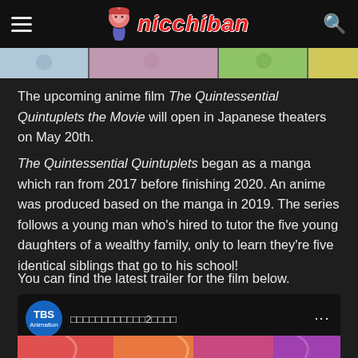nicchiban
[Figure (illustration): Colorful anime character image strip at top of content]
The upcoming anime film The Quintessential Quintuplets the Movie will open in Japanese theaters on May 20th.
The Quintessential Quintuplets began as a manga which ran from 2017 before finishing 2020. An anime was produced based on the manga in 2019. The series follows a young man who’s hired to tutor the five young daughters of a wealthy family, only to learn they’re five identical siblings that go to his school!
You can find the latest trailer for the film below.
[Figure (screenshot): Embedded video player showing TBS Animation YouTube video with Japanese title text]
[Figure (illustration): Anime character artwork thumbnail at bottom of video player]